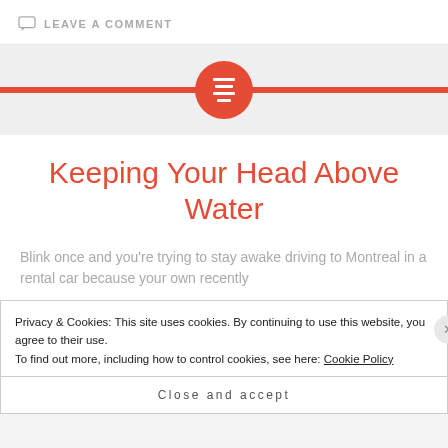LEAVE A COMMENT
[Figure (illustration): Red horizontal bar with centered red circle containing white horizontal lines icon, on a light grey background]
Keeping Your Head Above Water
Blink once and you're trying to stay awake driving to Montreal in a rental car because your own recently...
Privacy & Cookies: This site uses cookies. By continuing to use this website, you agree to their use. To find out more, including how to control cookies, see here: Cookie Policy
Close and accept